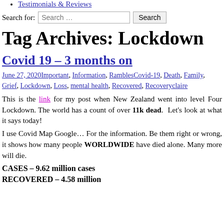Testimonials & Reviews
Search for: [Search …] Search
Tag Archives: Lockdown
Covid 19 – 3 months on
June 27, 2020Important, Information, RamblesCovid-19, Death, Family, Grief, Lockdown, Loss, mental health, Recovered, Recoveryclaire
This is the link for my post when New Zealand went into level Four Lockdown. The world has a count of over 11k dead.  Let's look at what it says today!
I use Covid Map Google… For the information. Be them right or wrong, it shows how many people WORLDWIDE have died alone. Many more will die.
CASES – 9.62 million cases
RECOVERED – 4.58 million